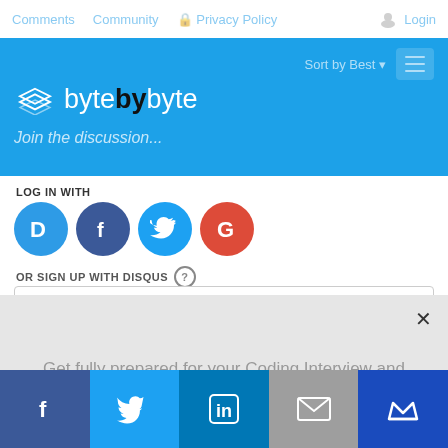Comments   Community   Privacy Policy   Login
[Figure (logo): byte by byte logo with diamond/layers icon on blue header background]
Join the discussion...
LOG IN WITH
[Figure (infographic): Four social login icons: Disqus (D, blue), Facebook (f, dark blue), Twitter (bird, light blue), Google (G, red)]
OR SIGN UP WITH DISQUS ?
Name
Get fully prepared for your Coding Interview and save 20% with Exponent. Learn More →
[Figure (infographic): Bottom social share bar with Facebook, Twitter, LinkedIn, Email, and crown icons]